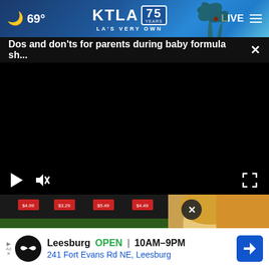🌙 69° | KTLA 75 YEARS | LA'S VERY OWN | LIVE
Dos and don'ts for parents during baby formula sh... ×
[Figure (screenshot): Black video player area with play button, mute button, and fullscreen button controls]
[Figure (photo): Grocery store produce section with a woman visible on the right side]
Leesburg  OPEN  10AM–9PM  241 Fort Evans Rd NE, Leesburg